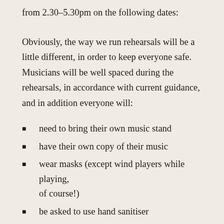from 2.30–5.30pm on the following dates:
Obviously, the way we run rehearsals will be a little different, in order to keep everyone safe. Musicians will be well spaced during the rehearsals, in accordance with current guidance, and in addition everyone will:
need to bring their own music stand
have their own copy of their music
wear masks (except wind players while playing, of course!)
be asked to use hand sanitiser
be required to sign a declaration that they have